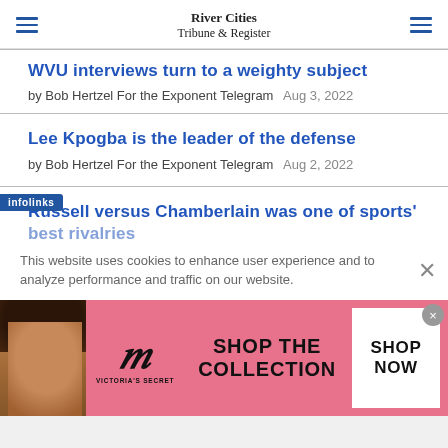River Cities Tribune & Register
WVU interviews turn to a weighty subject
by Bob Hertzel For the Exponent Telegram   Aug 3, 2022
Lee Kpogba is the leader of the defense
by Bob Hertzel For the Exponent Telegram   Aug 2, 2022
Russell versus Chamberlain was one of sports' best rivalries
This website uses cookies to enhance user experience and to analyze performance and traffic on our website.
[Figure (advertisement): Victoria's Secret advertisement with model, VS logo, text 'SHOP THE COLLECTION' and 'SHOP NOW' button on pink background]